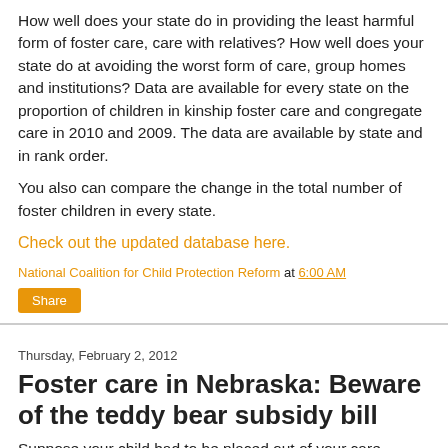How well does your state do in providing the least harmful form of foster care, care with relatives?  How well does your state do at avoiding the worst form of care, group homes and institutions? Data are available for every state on the proportion of children in kinship foster care and congregate care in 2010 and 2009.  The data are available by state and in rank order.
You also can compare the change in the total number of foster children in every state.
Check out the updated database here.
National Coalition for Child Protection Reform at 6:00 AM
Share
Thursday, February 2, 2012
Foster care in Nebraska: Beware of the teddy bear subsidy bill
Suppose your child had to be placed out of your care because of